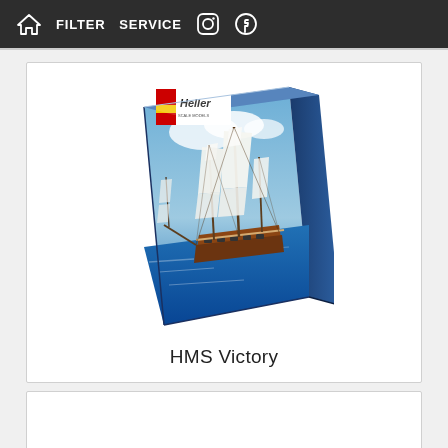Home  FILTER  SERVICE  [Instagram] [Facebook]
[Figure (photo): Heller model kit box for HMS Victory sailing ship model, showing dramatic naval battle scene with tall ships under sail]
HMS Victory
[Figure (photo): Second product card, partially visible at bottom of page]